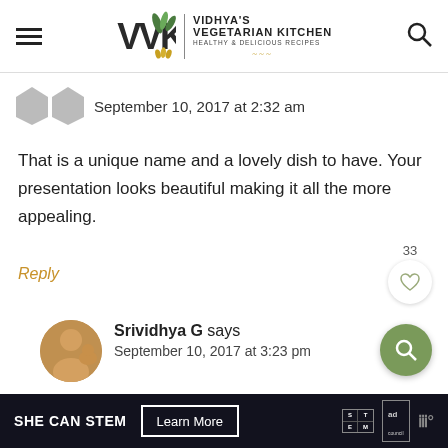VIDHYA'S VEGETARIAN KITCHEN HEALTHY & DELICIOUS RECIPES
September 10, 2017 at 2:32 am
That is a unique name and a lovely dish to have. Your presentation looks beautiful making it all the more appealing.
Reply
Srividhya G says
September 10, 2017 at 3:23 pm
SHE CAN STEM  Learn More